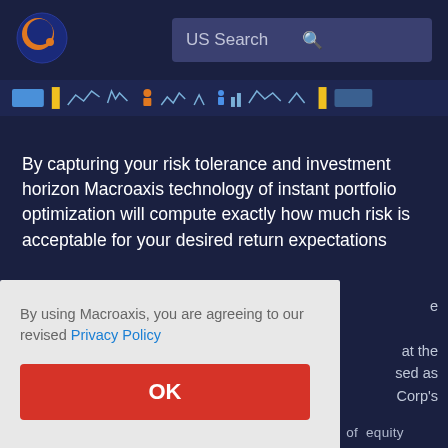[Figure (logo): Macroaxis globe logo — orange and blue circular icon]
US Search
[Figure (infographic): Ticker strip showing various chart sparklines and colored icons in a navigation bar]
By capturing your risk tolerance and investment horizon Macroaxis technology of instant portfolio optimization will compute exactly how much risk is acceptable for your desired return expectations
By using Macroaxis, you are agreeing to our revised Privacy Policy
OK
e
at the sed as Corp's
statistical models used to find the right mix of equity